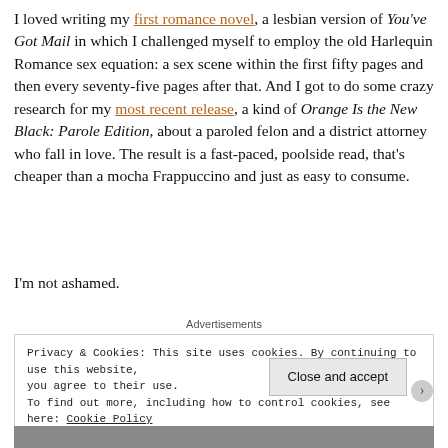I loved writing my first romance novel, a lesbian version of You've Got Mail in which I challenged myself to employ the old Harlequin Romance sex equation: a sex scene within the first fifty pages and then every seventy-five pages after that. And I got to do some crazy research for my most recent release, a kind of Orange Is the New Black: Parole Edition, about a paroled felon and a district attorney who fall in love. The result is a fast-paced, poolside read, that's cheaper than a mocha Frappuccino and just as easy to consume.
I'm not ashamed.
Advertisements
Privacy & Cookies: This site uses cookies. By continuing to use this website, you agree to their use.
To find out more, including how to control cookies, see here: Cookie Policy
Close and accept